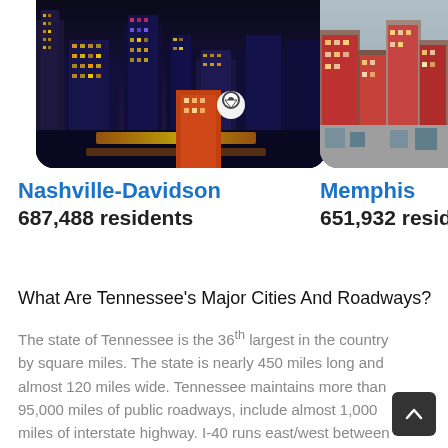[Figure (photo): Aerial night view of Nashville-Davidson city skyline with illuminated buildings and streets, with a location pin icon overlay]
[Figure (photo): Daytime aerial view of Memphis city buildings with colorful brick facades]
Nashville-Davidson
687,488 residents
Memphis
651,932 residents
What Are Tennessee's Major Cities And Roadways?
The state of Tennessee is the 36th largest in the country by square miles. The state is nearly 450 miles long and almost 120 miles wide. Tennessee maintains more than 95,000 miles of public roadways, include almost 1,000 miles of interstate highway. I-40 runs east/west between Memphis in the southwest corner of the state and North Carolina. I-75 goes north/south in the eastern part of the state and I-81...